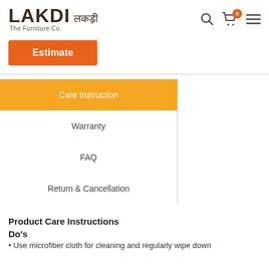LAKDI लकड़ी The Furniture Co.
Estimate
Care Instruction
Warranty
FAQ
Return & Cancellation
Product Care Instructions
Do's
Use microfiber cloth for cleaning and regularly wipe down